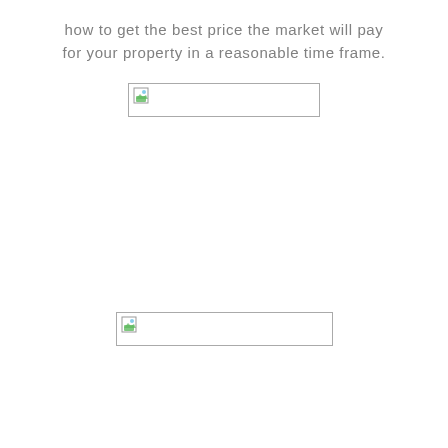how to get the best price the market will pay for your property in a reasonable time frame.
[Figure (photo): Broken/missing image placeholder (first image)]
[Figure (photo): Broken/missing image placeholder (second image)]